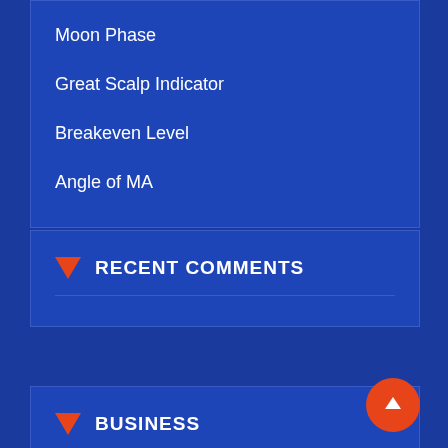Moon Phase
Great Scalp Indicator
Breakeven Level
Angle of MA
RECENT COMMENTS
BUSINESS